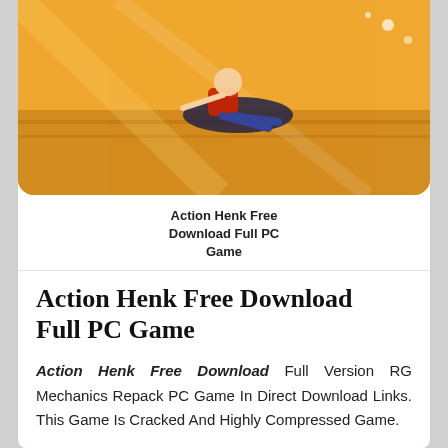[Figure (photo): Screenshot or artwork from the game Action Henk, showing a toy action figure sliding on a wooden floor surface with colorful background]
Action Henk Free Download Full PC Game
Action Henk Free Download Full PC Game
Action Henk Free Download Full Version RG Mechanics Repack PC Game In Direct Download Links. This Game Is Cracked And Highly Compressed Game.
Specifications Of Action Henk PC Game
Size: 738 MB